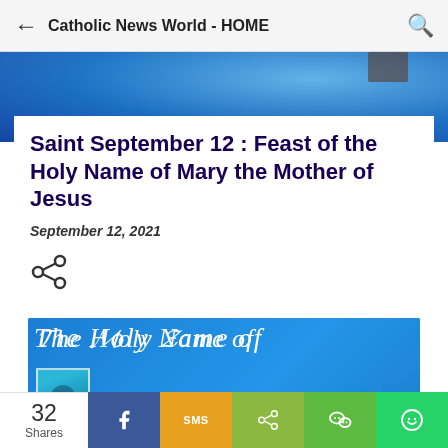Catholic News World - HOME
[Figure (photo): Blue blurred hero banner image at top of article page]
Saint September 12 : Feast of the Holy Name of Mary the Mother of Jesus
September 12, 2021
[Figure (illustration): Share icon (less-than style share symbol)]
[Figure (illustration): Blue banner image with cursive white text reading 'The Holy Name of' with a small thumbnail of Mary in blue headscarf and partial cursive letters at bottom]
32 Shares
[Figure (infographic): Social share bar with Facebook, SMS, Share, WeChat, and WhatsApp buttons]